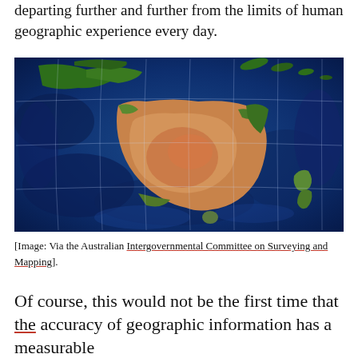departing further and further from the limits of human geographic experience every day.
[Figure (map): Satellite map image of Australia and surrounding region (Papua New Guinea to the north, New Zealand to the southeast), showing ocean floor topography in blue tones and land in natural color, overlaid with a geographic grid.]
[Image: Via the Australian Intergovernmental Committee on Surveying and Mapping].
Of course, this would not be the first time that the accuracy of geographic information has a measurable